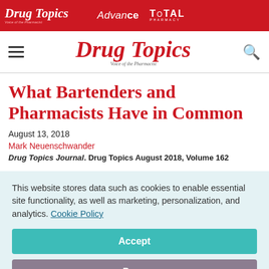Drug Topics | Advance | TOTAL PHARMACY
Drug Topics — Voice of the Pharmacist
What Bartenders and Pharmacists Have in Common
August 13, 2018
Mark Neuenschwander
Drug Topics Journal. Drug Topics August 2018, Volume 162
This website stores data such as cookies to enable essential site functionality, as well as marketing, personalization, and analytics. Cookie Policy
Accept
Deny